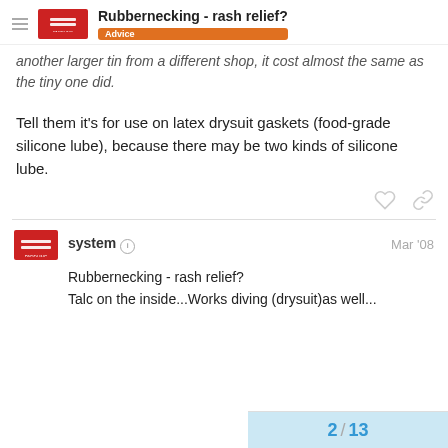Rubbernecking - rash relief? | Advice
another larger tin from a different shop, it cost almost the same as the tiny one did.
Tell them it's for use on latex drysuit gaskets (food-grade silicone lube), because there may be two kinds of silicone lube.
system  Mar '08
Rubbernecking - rash relief?
Talc on the inside...Works diving (drysuit)as well...
2 / 13